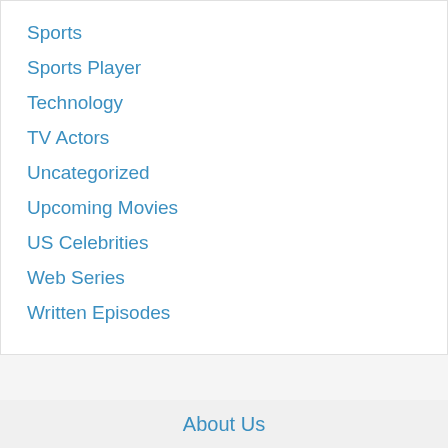Sports
Sports Player
Technology
TV Actors
Uncategorized
Upcoming Movies
US Celebrities
Web Series
Written Episodes
About Us